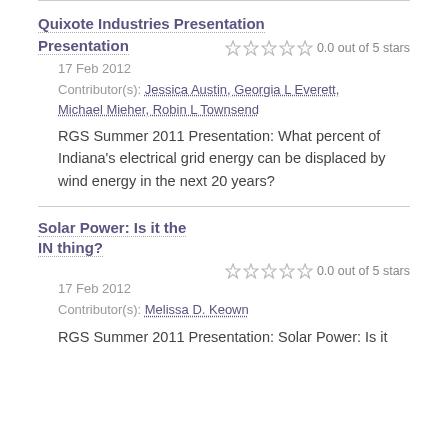Quixote Industries Presentation
0.0 out of 5 stars
17 Feb 2012
Contributor(s): Jessica Austin, Georgia L Everett, Michael Mieher, Robin L Townsend
RGS Summer 2011 Presentation: What percent of Indiana's electrical grid energy can be displaced by wind energy in the next 20 years?
Solar Power: Is it the IN thing?
0.0 out of 5 stars
17 Feb 2012
Contributor(s): Melissa D. Keown
RGS Summer 2011 Presentation: Solar Power: Is it